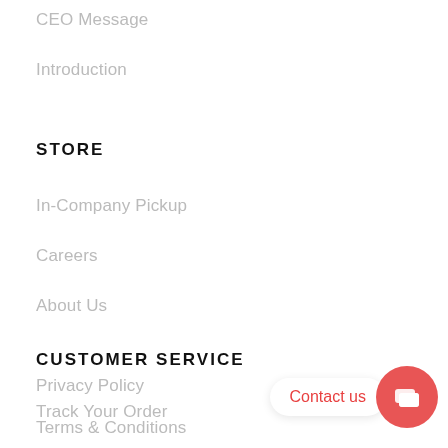CEO Message
Introduction
STORE
In-Company Pickup
Careers
About Us
CUSTOMER SERVICE
Track Your Order
Privacy Policy
Terms & Conditions
[Figure (other): Contact us chat button with red circular icon]